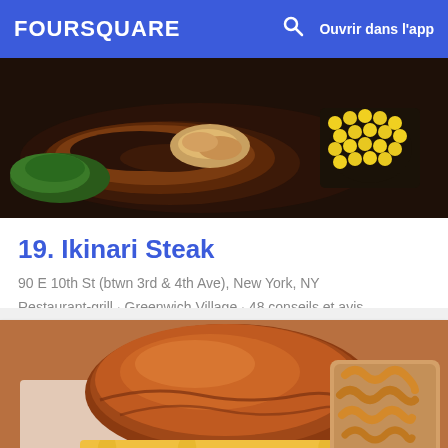FOURSQUARE  Ouvrir dans l'app
[Figure (photo): Close-up photo of a Japanese steak dish on a hot plate with mushrooms and corn kernels]
19. Ikinari Steak
90 E 10th St (btwn 3rd & 4th Ave), New York, NY
Restaurant-grill · Greenwich Village · 48 conseils et avis
[Figure (photo): Close-up photo of a large cheeseburger with melted cheese and curly fries in a cup]
20. Emily West Village